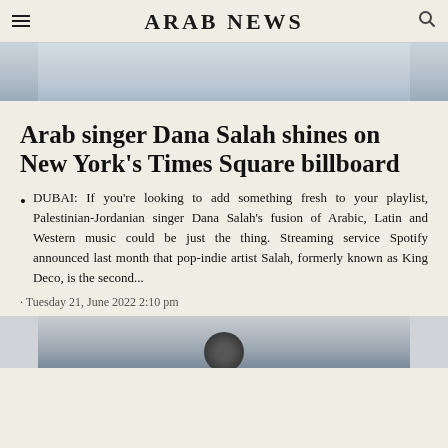ARAB NEWS
[Figure (photo): Top portion of a photo showing a person, cropped — only the upper part visible]
Arab singer Dana Salah shines on New York's Times Square billboard
DUBAI: If you're looking to add something fresh to your playlist, Palestinian-Jordanian singer Dana Salah's fusion of Arabic, Latin and Western music could be just the thing. Streaming service Spotify announced last month that pop-indie artist Salah, formerly known as King Deco, is the second...
· Tuesday 21, June 2022 2:10 pm
[Figure (photo): Bottom cropped photo showing the top of a person's head with dark hair]